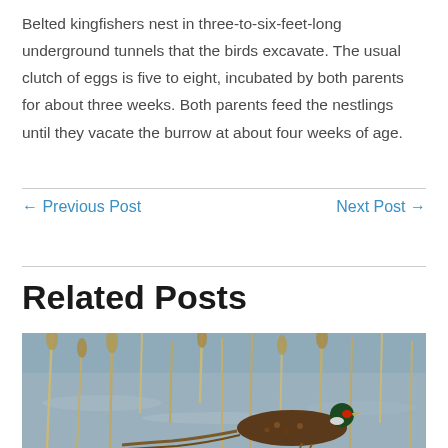Belted kingfishers nest in three-to-six-feet-long underground tunnels that the birds excavate. The usual clutch of eggs is five to eight, incubated by both parents for about three weeks. Both parents feed the nestlings until they vacate the burrow at about four weeks of age.
← Previous Post
Next Post →
Related Posts
[Figure (photo): A ring-necked pheasant bird walking among dry reeds and grasses near water]